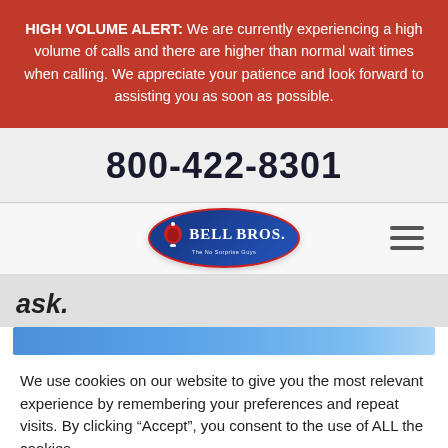HIGH VOLUME ALERT: We are currently experiencing a high volume of calls and there are higher than normal wait times when calling. We appreciate your patience and look forward to assisting you as soon as possible.
800-422-8301
[Figure (logo): Bell Bros. logo — blue oval with red border showing a bell icon, 'Bell Bros.' text in white serif font, and the tagline 'The No Surprise Guys' in small white text. Hamburger menu icon (three horizontal lines) on the right side.]
ask.
[Figure (other): Horizontal blue gradient bar spanning almost full width]
We use cookies on our website to give you the most relevant experience by remembering your preferences and repeat visits. By clicking “Accept”, you consent to the use of ALL the cookies.
Cookie settings
ACCEPT